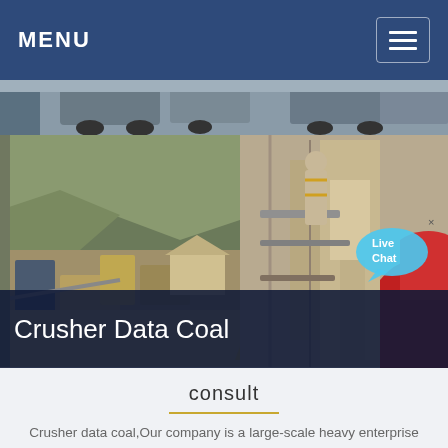MENU
[Figure (photo): Collage of mining/crusher site photos: quarry with heavy machinery and trucks on the left, industrial machinery/equipment on the right]
Crusher Data Coal
consult
Crusher data coal,Our company is a large-scale heavy enterprise that taking heavy mining machinery manufactory as main products and integrated with scientific research, production, and marketing. We are concentrating on producing and